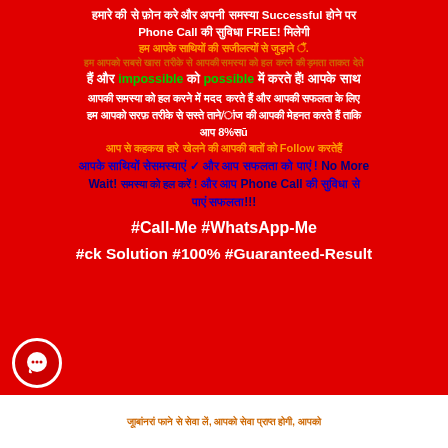Hindi text: Successful Phone Call FREE! promotional text about impossible to possible, Follow, No More Wait, Phone Call. #Call-Me #WhatsApp-Me #Quick Solution #100% #Guaranteed-Result
[Figure (logo): Red circular chat bubble icon with white speech bubble symbol]
Footer text in Hindi/orange on white background